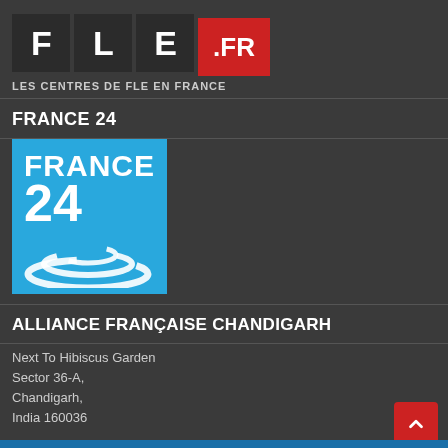[Figure (logo): FLE.FR logo — three dark square tiles with letters F, L, E and a red square tile with .FR text, subtitle: LES CENTRES DE FLE EN FRANCE]
FRANCE 24
[Figure (logo): France 24 logo — blue square with white bold text FRANCE 24 and stylized swirl graphic]
ALLIANCE FRANÇAISE CHANDIGARH
Next To Hibiscus Garden
Sector 36-A,
Chandigarh,
India 160036
"COVID-19" updated contacts: